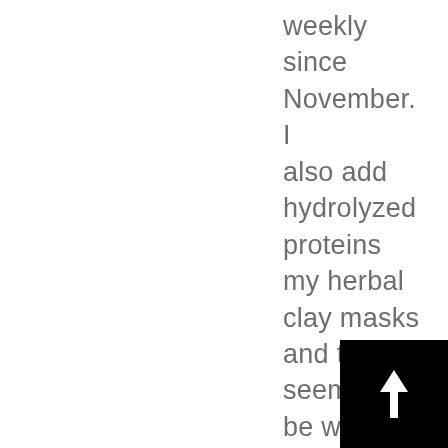weekly since November.  I also add hydrolyzed proteins my herbal clay masks and this seems to be what my hair has been looking for.  Though, my masks
[Figure (other): Black square button with white upward arrow in the bottom-right corner]